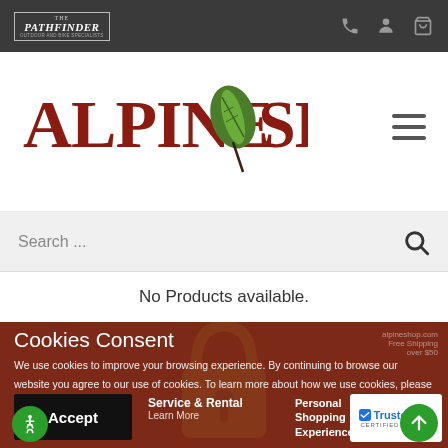The Pathfinder – Outdoor and Bike Specialists
[Figure (logo): Alpine Shop logo with red bold serif text and green leaf icon]
Search ...
No Products available.
Cookies Consent
We use cookies to improve your browsing experience. By continuing to browse our website you agree to our use of cookies. To learn more about how we use cookies, please review our privacy policy.
Accept
Service & Rental
Learn More
Personal Shopping Experience
[Figure (logo): TrustedSite Certified Secure badge]